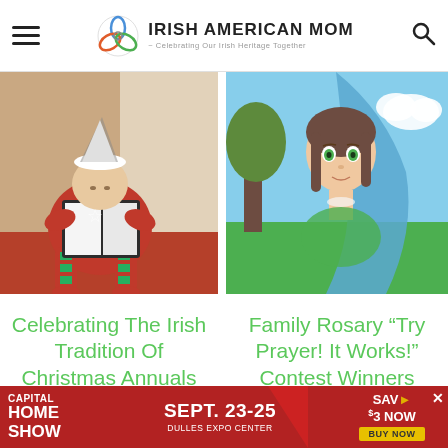Irish American Mom - Celebrating Our Irish Heritage Together
[Figure (photo): Child in Christmas pajamas and Santa hat sitting cross-legged reading a large book]
[Figure (illustration): Anime-style illustration of a girl with green eyes and brown hair wearing a blue veil, surrounded by green and blue nature scene]
Celebrating The Irish Tradition Of Christmas Annuals
Family Rosary "Try Prayer! It Works!" Contest Winners 2018
[Figure (infographic): Capital Home Show advertisement banner - Sept. 23-25, Dulles Expo Center, Save $3 Now, Buy Now]